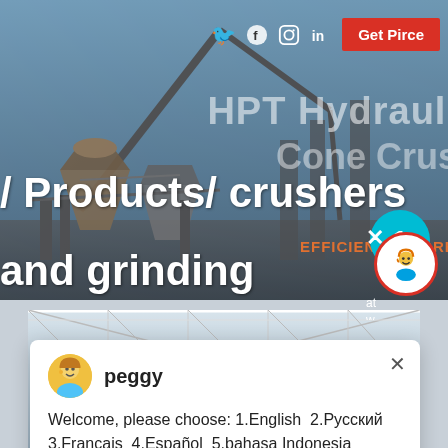[Figure (screenshot): Industrial crusher/grinding machinery website screenshot with hero banner showing /Products/crushers and grinding text, social media icons, Get Price button, HPT Hydraulic Cone Crusher watermark text, EFFICIENCY INCREA text, chat widget showing peggy avatar with multilingual welcome message, teal number 1 badge, and bottom industrial equipment photo]
/ Products/ crushers and grinding
Get Pirce
HPT Hydraulic Cone Crus
EFFICIENCY INCREA
peggy
Welcome, please choose: 1.English  2.Русский  3.Français  4.Español  5.bahasa Indonesia  6.عربي